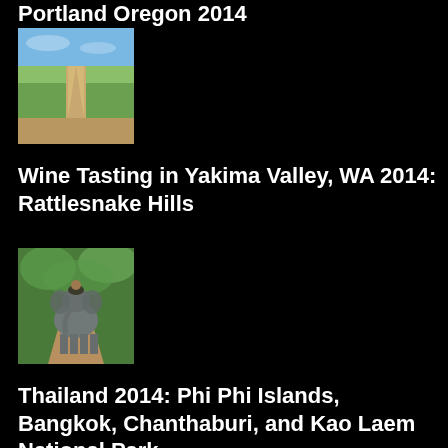Portland Oregon 2014
[Figure (photo): Vineyard dirt road stretching into distance with green fields and blue sky]
Wine Tasting in Yakima Valley, WA 2014: Rattlesnake Hills
[Figure (photo): Elephant on dirt path surrounded by green trees]
Thailand 2014: Phi Phi Islands, Bangkok, Chanthaburi, and Kao Laem National Park
[Figure (photo): Person standing on beach with overcast grey sky]
Seaboard Washington October 2013: Seaboard...